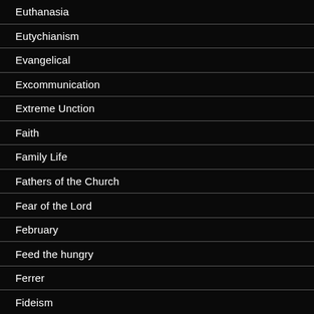Euthanasia
Eutychianism
Evangelical
Excommunication
Extreme Unction
Faith
Family Life
Fathers of the Church
Fear of the Lord
February
Feed the hungry
Ferrer
Fideism